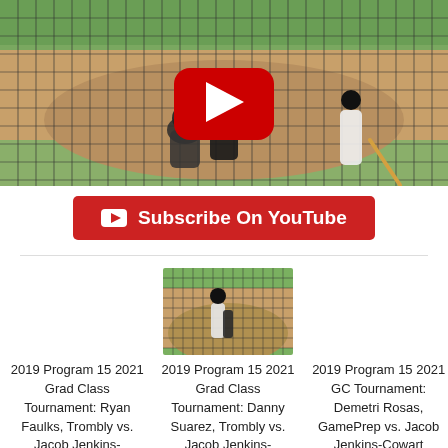[Figure (photo): Baseball game screenshot with YouTube play button overlay, viewed through a net fence. Shows catcher, umpire, and batter at home plate on a baseball field.]
Subscribe On YouTube
[Figure (photo): Baseball game thumbnail showing players at home plate viewed through net fence.]
2019 Program 15 2021 Grad Class Tournament: Ryan Faulks, Trombly vs. Jacob Jenkins-
2019 Program 15 2021 Grad Class Tournament: Danny Suarez, Trombly vs. Jacob Jenkins-
2019 Program 15 2021 GC Tournament: Demetri Rosas, GamePrep vs. Jacob Jenkins-Cowart